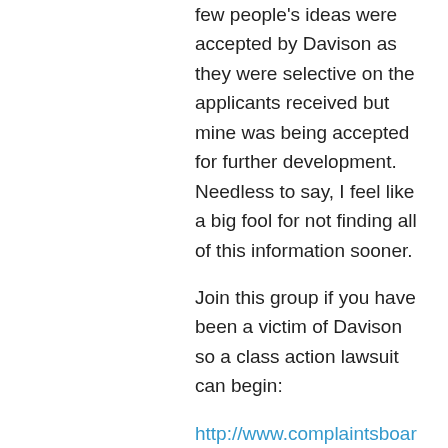few people's ideas were accepted by Davison as they were selective on the applicants received but mine was being accepted for further development. Needless to say, I feel like a big fool for not finding all of this information sooner.
Join this group if you have been a victim of Davison so a class action lawsuit can begin:
http://www.complaintsboard.com/groups/davisonisgoingdown-g2287.htm
Like
Kay on 2010-03-12 at 17:36
I stumbled across your web site while doing a little Davison investigating. I am embarrassed to